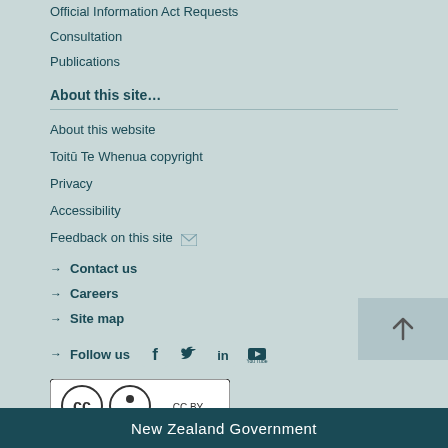Official Information Act Requests
Consultation
Publications
About this site…
About this website
Toitū Te Whenua copyright
Privacy
Accessibility
Feedback on this site
→ Contact us
→ Careers
→ Site map
→ Follow us
[Figure (logo): Creative Commons Attribution (CC BY) badge]
New Zealand Government